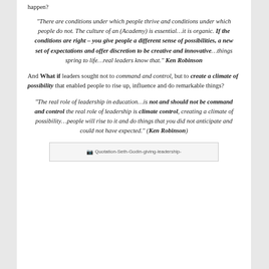happen?
“There are conditions under which people thrive and conditions under which people do not. The culture of an (Academy) is essential…it is organic. If the conditions are right – you give people a different sense of possibilities, a new set of expectations and offer discretion to be creative and innovative…things spring to life…real leaders know that.” Ken Robinson
And What if leaders sought not to command and control, but to create a climate of possibility that enabled people to rise up, influence and do remarkable things?
“The real role of leadership in education…is not and should not be command and control the real role of leadership is climate control, creating a climate of possibility…people will rise to it and do things that you did not anticipate and could not have expected.” (Ken Robinson)
[Figure (other): Image placeholder showing Quotation-Seth-Godin-giving-leadership-]